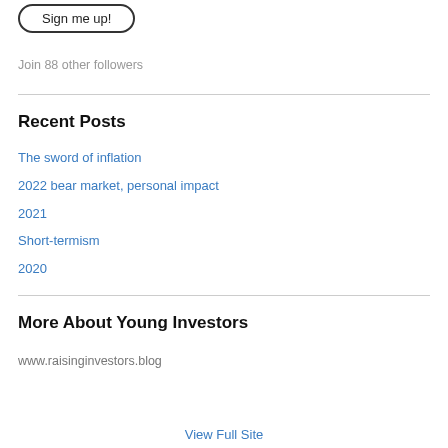[Figure (other): Sign me up! button with rounded border]
Join 88 other followers
Recent Posts
The sword of inflation
2022 bear market, personal impact
2021
Short-termism
2020
More About Young Investors
www.raisinginvestors.blog
View Full Site